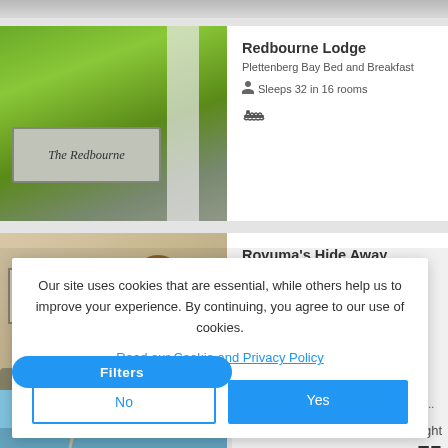[Figure (photo): Partial top image strip - grey/light background]
[Figure (photo): Photo of The Redbourne lodge sign with tropical green plants]
Redbourne Lodge
Plettenberg Bay Bed and Breakfast
Sleeps 32 in 16 rooms
[Figure (photo): Interior room photo - hotel room with paintings on wall]
Rovuma's Hide Away
Goose Valley Golf Estate Self-catering...
Our site uses cookies that are essential, while others help us to improve your experience. By continuing, you agree to our use of cookies.
Read our Cookie and Privacy Policy
No
Yes
Filters
[Figure (photo): Partial coastal/beach photo with umbrella]
Goose Valley Golf Estate Guest Hous...
Sleeps 10